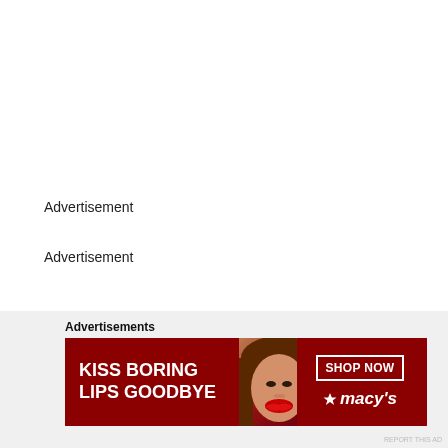Advertisement
Advertisement
Advertisements
[Figure (illustration): Macy's advertisement banner showing a woman's face with red lips, text 'KISS BORING LIPS GOODBYE', a 'SHOP NOW' button, and the Macy's star logo]